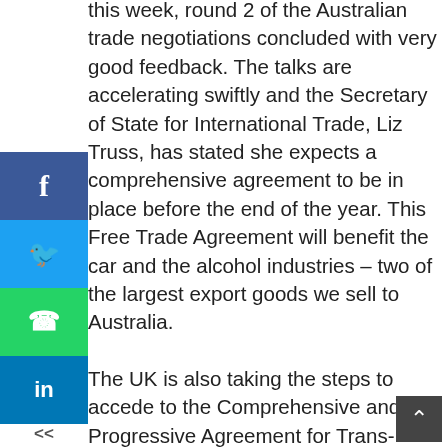this week, round 2 of the Australian trade negotiations concluded with very good feedback. The talks are accelerating swiftly and the Secretary of State for International Trade, Liz Truss, has stated she expects a comprehensive agreement to be in place before the end of the year. This Free Trade Agreement will benefit the car and the alcohol industries – two of the largest export goods we sell to Australia. The UK is also taking the steps to accede to the Comprehensive and Progressive Agreement for Trans-Pacific Partnership (CPTPP) – Japan's new Prime Minister has welcomed the UK with open arms to the 3rd largest free trade area in the world. Meanwhile, we have already concluded a Free Trade Agreement with Japan, which